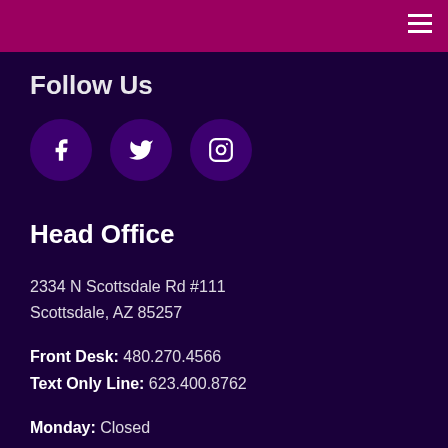Follow Us
[Figure (illustration): Three circular social media icon buttons for Facebook, Twitter, and Instagram on a dark purple background]
Head Office
2334 N Scottsdale Rd #111
Scottsdale, AZ 85257
Front Desk: 480.270.4566
Text Only Line: 623.400.8762
Monday: Closed
Tues: 10:00 – 18:30
Wed: 06:00 – 14:00
Thurs: 06:00 – 18:30